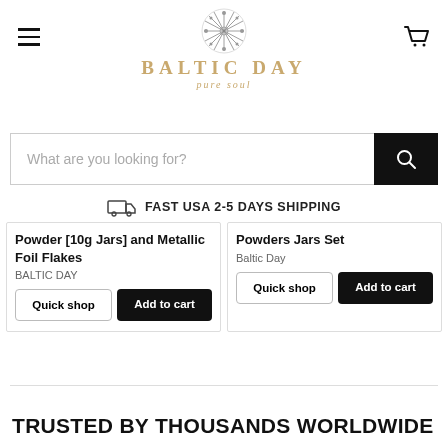BALTIC DAY pure soul
What are you looking for?
FAST USA 2-5 DAYS SHIPPING
Powder [10g Jars] and Metallic Foil Flakes
BALTIC DAY
Powders Jars Set
Baltic Day
TRUSTED BY THOUSANDS WORLDWIDE